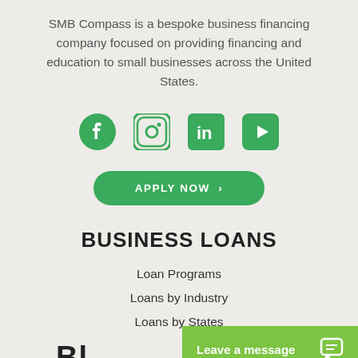SMB Compass is a bespoke business financing company focused on providing financing and education to small businesses across the United States.
[Figure (infographic): Four social media icons: Facebook, Instagram, LinkedIn, YouTube — all in green]
[Figure (infographic): Green rounded button with text APPLY NOW and a chevron arrow]
BUSINESS LOANS
Loan Programs
Loans by Industry
Loans by States
[Figure (infographic): Green chat bar at bottom right with text 'Leave a message' and chat bubble icon]
Bl...